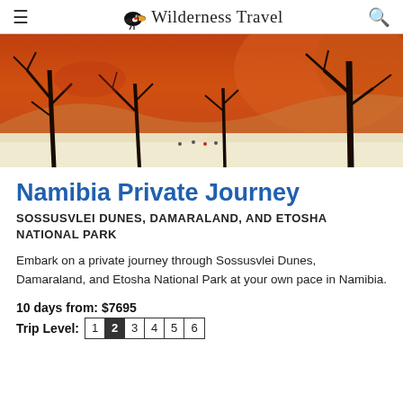Wilderness Travel
[Figure (photo): Hero landscape photo of Sossusvlei Deadvlei with orange-red sand dunes, bare dead black trees, and small figures of people in the white clay pan below.]
Namibia Private Journey
SOSSUSVLEI DUNES, DAMARALAND, AND ETOSHA NATIONAL PARK
Embark on a private journey through Sossusvlei Dunes, Damaraland, and Etosha National Park at your own pace in Namibia.
10 days from: $7695
Trip Level: 1 2 3 4 5 6